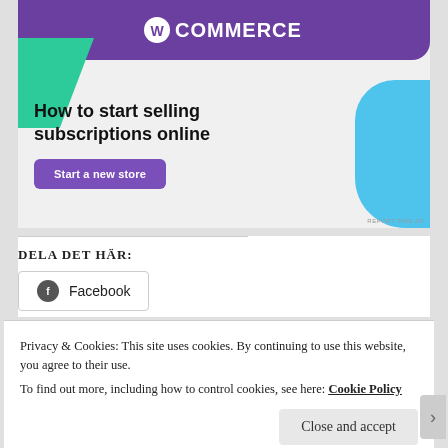[Figure (illustration): WooCommerce advertisement banner with purple header showing WooCommerce logo, green triangular shape on left, blue curved shape on right, headline 'How to start selling subscriptions online', and a purple 'Start a new store' button on a light grey background.]
DELA DET HÄR:
Facebook
Privacy & Cookies: This site uses cookies. By continuing to use this website, you agree to their use.
To find out more, including how to control cookies, see here: Cookie Policy
Close and accept